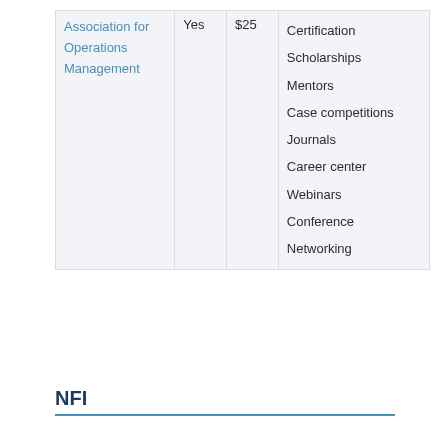| Organization | Student Membership | Cost | Benefits |
| --- | --- | --- | --- |
| Association for Operations Management | Yes | $25 | Certification
Scholarships
Mentors
Case competitions
Journals
Career center
Webinars
Conference
Networking |
NFI